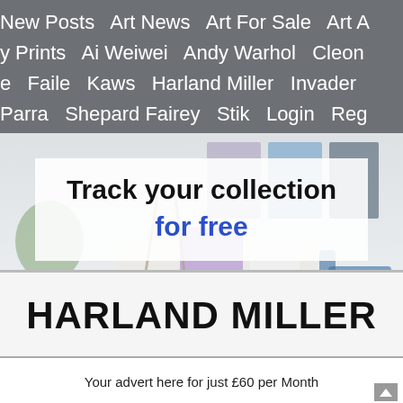New Posts   Art News   Art For Sale   Art A   y Prints   Ai Weiwei   Andy Warhol   Cleon   e   Faile   Kaws   Harland Miller   Invader   Parra   Shepard Fairey   Stik   Login   Reg
[Figure (photo): Interior room scene with artworks displayed on wall and furniture, used as hero banner background]
Track your collection for free
HARLAND MILLER
Your advert here for just £60 per Month